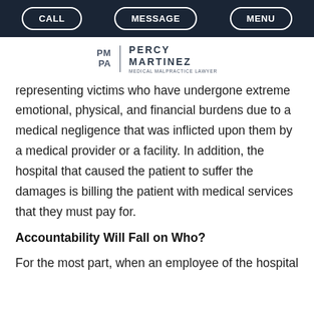CALL | MESSAGE | MENU
[Figure (logo): Percy Martinez Medical Malpractice Lawyer logo with PM PA initials and vertical divider]
representing victims who have undergone extreme emotional, physical, and financial burdens due to a medical negligence that was inflicted upon them by a medical provider or a facility. In addition, the hospital that caused the patient to suffer the damages is billing the patient with medical services that they must pay for.
Accountability Will Fall on Who?
For the most part, when an employee of the hospital